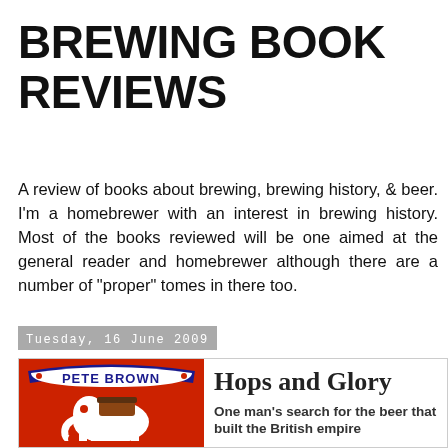BREWING BOOK REVIEWS
A review of books about brewing, brewing history, & beer. I'm a homebrewer with an interest in brewing history. Most of the books reviewed will be one aimed at the general reader and homebrewer although there are a number of "proper" tomes in there too.
Tuesday, 16 June 2009
[Figure (photo): Book cover of Hops and Glory by Pete Brown showing a red label with an elephant and the text PETE BROWN and HOPS AND]
Hops and Glory
One man's search for the beer that built the British empire
Pete Brown, Macmillan, London, 2009
HB, 458pp